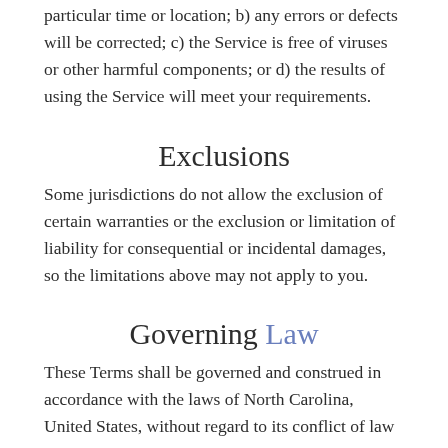particular time or location; b) any errors or defects will be corrected; c) the Service is free of viruses or other harmful components; or d) the results of using the Service will meet your requirements.
Exclusions
Some jurisdictions do not allow the exclusion of certain warranties or the exclusion or limitation of liability for consequential or incidental damages, so the limitations above may not apply to you.
Governing Law
These Terms shall be governed and construed in accordance with the laws of North Carolina, United States, without regard to its conflict of law provisions.